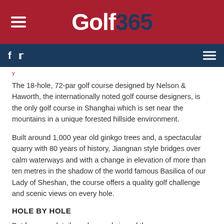Golf 365
The 18-hole, 72-par golf course designed by Nelson & Haworth, the internationally noted golf course designers, is the only golf course in Shanghai which is set near the mountains in a unique forested hillside environment.
Built around 1,000 year old ginkgo trees and, a spectacular quarry with 80 years of history, Jiangnan style bridges over calm waterways and with a change in elevation of more than ten metres in the shadow of the world famous Basilica of our Lady of Sheshan, the course offers a quality golf challenge and scenic views on every hole.
HOLE BY HOLE
But for more details and a good view of the course, you can go to